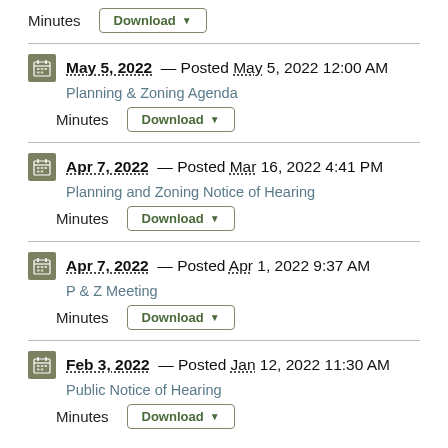Minutes  Download
May 5, 2022 — Posted May 5, 2022 12:00 AM
Planning & Zoning Agenda
Minutes  Download
Apr 7, 2022 — Posted Mar 16, 2022 4:41 PM
Planning and Zoning Notice of Hearing
Minutes  Download
Apr 7, 2022 — Posted Apr 1, 2022 9:37 AM
P & Z Meeting
Minutes  Download
Feb 3, 2022 — Posted Jan 12, 2022 11:30 AM
Public Notice of Hearing
Minutes  Download